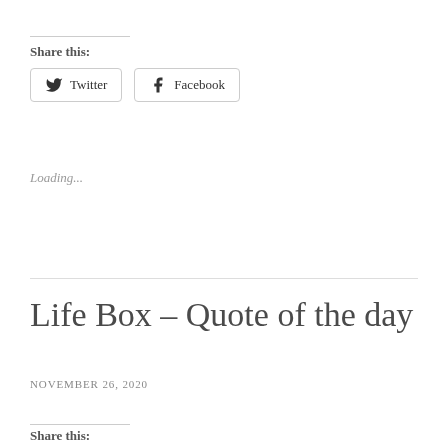Share this:
Twitter  Facebook
Loading...
Life Box – Quote of the day
NOVEMBER 26, 2020
Share this: